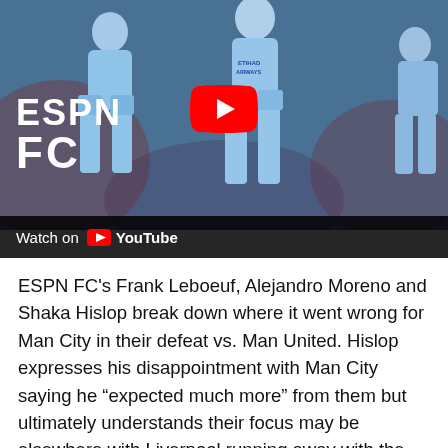[Figure (screenshot): YouTube video thumbnail showing Manchester City players in light blue jerseys standing on a football pitch. ESPN FC logo visible in bottom left. YouTube play button overlay in center. 'Watch on YouTube' bar at bottom.]
ESPN FC's Frank Leboeuf, Alejandro Moreno and Shaka Hislop break down where it went wrong for Man City in their defeat vs. Man United. Hislop expresses his disappointment with Man City saying he “expected much more” from them but ultimately understands their focus may be elsewhere with Liverpool running away with the